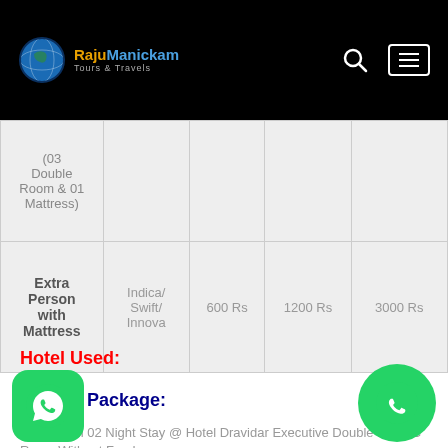RajuManickam Tours & Travels
| Type | Vehicle | Price1 | Price2 | Price3 |
| --- | --- | --- | --- | --- |
| (03 Double Room & 01 Mattress) |  |  |  |  |
| Extra Person with Mattress | Indica/ Swift/ Innova | 600 Rs | 1200 Rs | 3000 Rs |
Hotel Used:
Budget Package:
Velankanni 02 Night Stay @ Hotel Dravidar Executive Double Bed AC Room Without Food